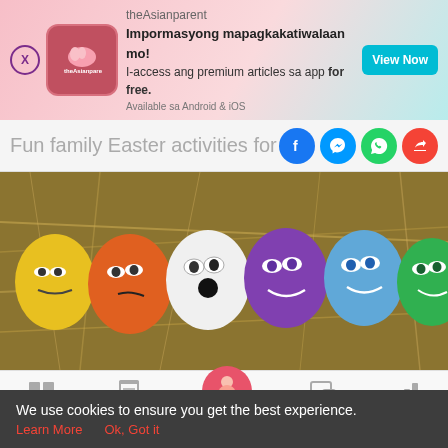[Figure (screenshot): theAsianparent app advertisement banner with pink gradient background, app logo, promotional text in Filipino and English, and teal 'View Now' button]
Fun family Easter activities for Holy W
[Figure (photo): Six colorful Easter eggs with cartoon faces lying on a bed of straw/hay: yellow, orange, white, purple, blue, and green eggs with various expressions]
[Figure (screenshot): Mobile app bottom navigation bar with Tools, Articles, pregnancy/home center button, Feed, and Poll icons]
We use cookies to ensure you get the best experience.
Learn More   Ok, Got it